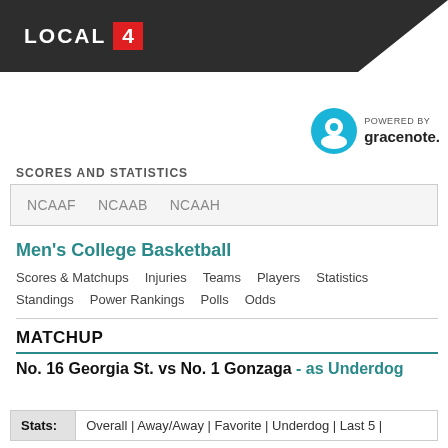LOCAL 4
[Figure (logo): Powered by Gracenote logo with circular G icon]
SCORES AND STATISTICS
NCAAF   NCAAB   NCAAH
Men's College Basketball
Scores & Matchups   Injuries   Teams   Players   Statistics
Standings   Power Rankings   Polls   Odds
MATCHUP
No. 16 Georgia St. vs No. 1 Gonzaga - as Underdog
| Stats: |  |
| --- | --- |
| Stats: | Overall | Away/Away | Favorite | Underdog | Last 5 | |